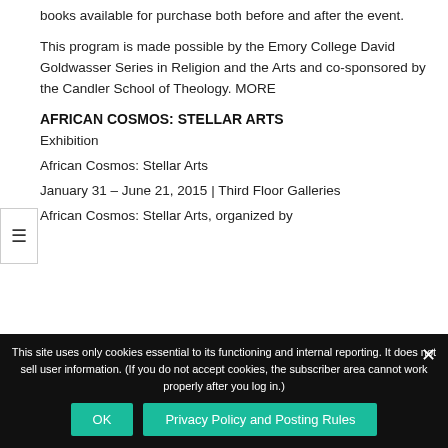books available for purchase both before and after the event.
This program is made possible by the Emory College David Goldwasser Series in Religion and the Arts and co-sponsored by the Candler School of Theology. MORE
AFRICAN COSMOS: STELLAR ARTS
Exhibition
African Cosmos: Stellar Arts
January 31 – June 21, 2015 | Third Floor Galleries
African Cosmos: Stellar Arts, organized by
This site uses only cookies essential to its functioning and internal reporting. It does not sell user information. (If you do not accept cookies, the subscriber area cannot work properly after you log in.)